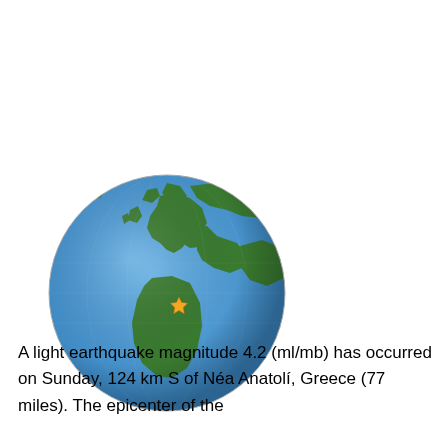[Figure (map): Globe showing Europe, Africa, Asia and the Atlantic Ocean. An orange star marker is placed approximately at Greece/Mediterranean region indicating the earthquake epicenter.]
A light earthquake magnitude 4.2 (ml/mb) has occurred on Sunday, 124 km S of Néa Anatolí, Greece (77 miles). The epicenter of the